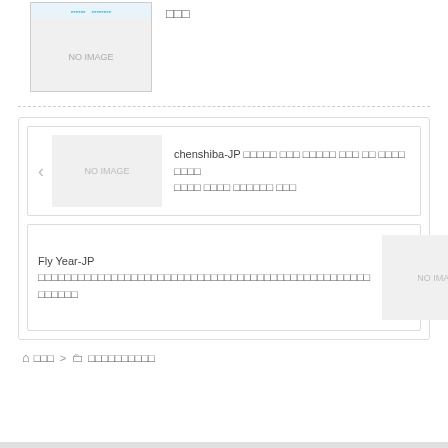[Figure (screenshot): No image placeholder box with blue label bar at top]
□□□
[Figure (screenshot): Card with left arrow, no image placeholder, and Japanese text: chenshiba-JP followed by Japanese characters]
[Figure (screenshot): Card with Japanese text Fly Year-JP followed by Japanese characters, no image placeholder, right arrow]
🏠 □□□ > □ □□□□□□□□□□